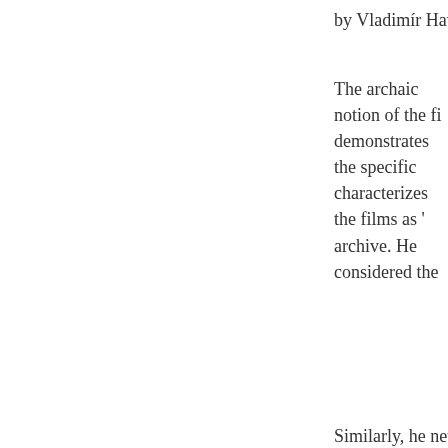by Vladimír Havlík and Zde
The archaic notion of the fi demonstrates the specific characterizes the films as ' archive. He considered the
Similarly, he never present